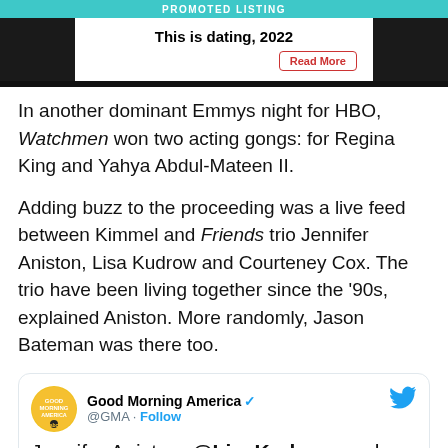PROMOTED LISTING
[Figure (infographic): Promoted listing ad box with title 'This is dating, 2022' and a 'Read More' button]
In another dominant Emmys night for HBO, Watchmen won two acting gongs: for Regina King and Yahya Abdul-Mateen II.
Adding buzz to the proceeding was a live feed between Kimmel and Friends trio Jennifer Aniston, Lisa Kudrow and Courteney Cox. The trio have been living together since the '90s, explained Aniston. More randomly, Jason Bateman was there too.
[Figure (screenshot): Tweet from @GMA (Good Morning America) with verified badge. Text: Jennifer Aniston, @LisaKudrow, and @courteneycox reunite at the #Emmys. gma.abc/3mBA11n]